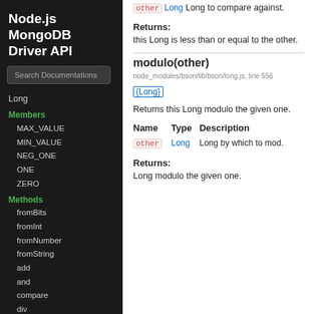Node.js MongoDB Driver API
Search Documentations
Long
Members
MAX_VALUE
MIN_VALUE
NEG_ONE
ONE
ZERO
Methods
fromBits
fromInt
fromNumber
fromString
add
and
compare
div
equals
getHighBits
getLowBits
getLowBitsUnsigned
getNumBitsAbs
other Long Long to compare against.
Returns:
this Long is less than or equal to the other.
modulo(other)
node_modules/bson/lib/bson/long.js, line 556
{Long}
Returns this Long modulo the given one.
| Name | Type | Description |
| --- | --- | --- |
| other | Long | Long by which to mod. |
Returns:
Long modulo the given one.